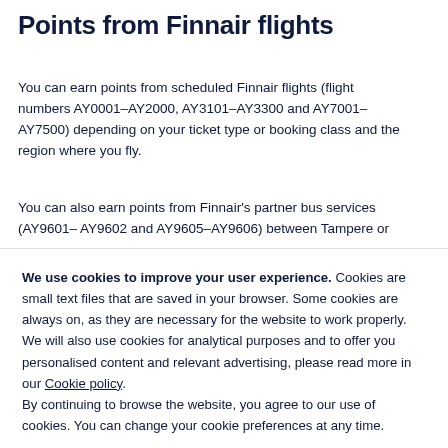Points from Finnair flights
You can earn points from scheduled Finnair flights (flight numbers AY0001–AY2000, AY3101–AY3300 and AY7001–AY7500) depending on your ticket type or booking class and the region where you fly.
You can also earn points from Finnair's partner bus services (AY9601– AY9602 and AY9605–AY9606) between Tampere or
We use cookies to improve your user experience. Cookies are small text files that are saved in your browser. Some cookies are always on, as they are necessary for the website to work properly. We will also use cookies for analytical purposes and to offer you personalised content and relevant advertising, please read more in our Cookie policy.
By continuing to browse the website, you agree to our use of cookies. You can change your cookie preferences at any time.
Close
Set your cookie preferences